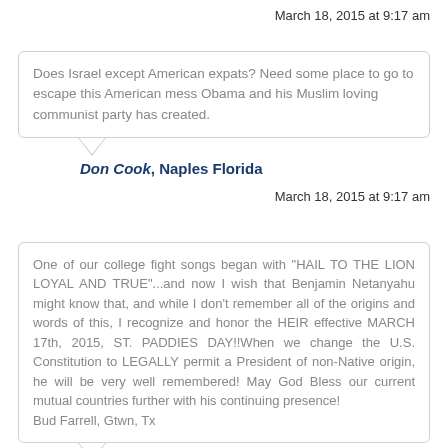March 18, 2015 at 9:17 am
Does Israel except American expats? Need some place to go to escape this American mess Obama and his Muslim loving communist party has created.
Don Cook, Naples Florida
March 18, 2015 at 9:17 am
One of our college fight songs began with "HAIL TO THE LION LOYAL AND TRUE"...and now I wish that Benjamin Netanyahu might know that, and while I don't remember all of the origins and words of this, I recognize and honor the HEIR effective MARCH 17th, 2015, ST. PADDIES DAY!!When we change the U.S. Constitution to LEGALLY permit a President of non-Native origin, he will be very well remembered! May God Bless our current mutual countries further with his continuing presence!
Bud Farrell, Gtwn, Tx
Bud Farrell, Georgetown, Texas, United States